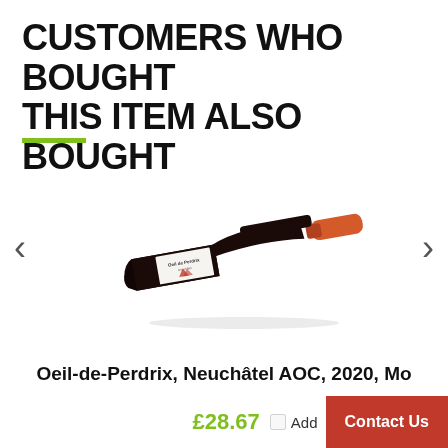CUSTOMERS WHO BOUGHT THIS ITEM ALSO BOUGHT
[Figure (photo): A wine bottle lying diagonally, dark glass with white label reading 'Oeil-de-Perdrix' and an orange/red foil cap, on a white background]
Oeil-de-Perdrix, Neuchâtel AOC, 2020, Mo
£28.67  Add
Contact Us